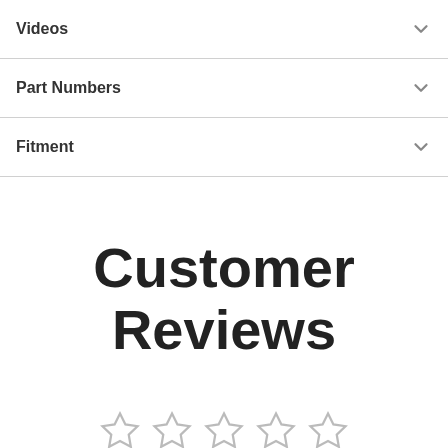Videos
Part Numbers
Fitment
Customer Reviews
[Figure (other): Five empty star rating icons in a row]